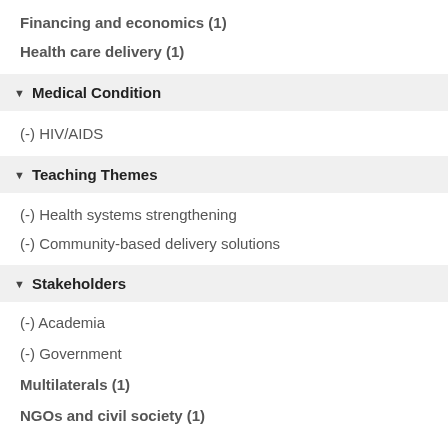Financing and economics (1)
Health care delivery (1)
Medical Condition
(-) HIV/AIDS
Teaching Themes
(-) Health systems strengthening
(-) Community-based delivery solutions
Stakeholders
(-) Academia
(-) Government
Multilaterals (1)
NGOs and civil society (1)